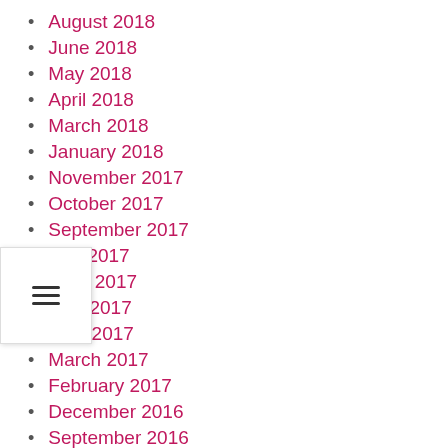August 2018
June 2018
May 2018
April 2018
March 2018
January 2018
November 2017
October 2017
September 2017
July 2017
June 2017
May 2017
April 2017
March 2017
February 2017
December 2016
September 2016
November 2015
October 2015